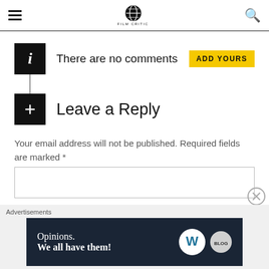Film critic website header with hamburger menu, globe logo, and search icon
There are no comments   ADD YOURS
Leave a Reply
Your email address will not be published. Required fields are marked *
[Figure (screenshot): Comment text input area (empty textarea)]
Advertisements
[Figure (infographic): Ad banner: Opinions. We all have them! with WordPress and another logo on dark navy background]